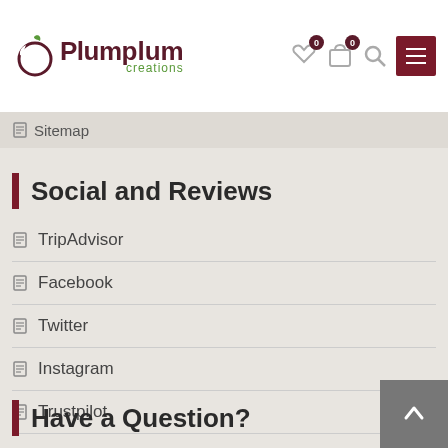Plumplum creations
Sitemap
Social and Reviews
TripAdvisor
Facebook
Twitter
Instagram
Trustpilot
Have a Question?